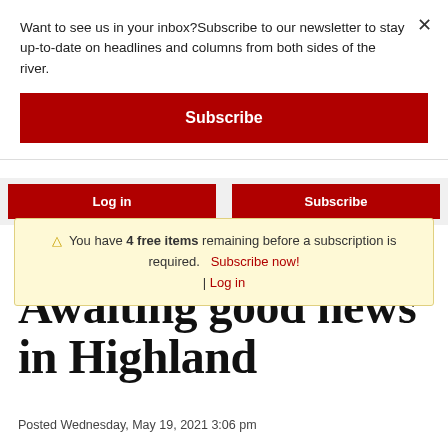Want to see us in your inbox?Subscribe to our newsletter to stay up-to-date on headlines and columns from both sides of the river.
Subscribe
Log in
Subscribe
⚠ You have 4 free items remaining before a subscription is required.   Subscribe now! | Log in
Awaiting good news in Highland
Posted Wednesday, May 19, 2021 3:06 pm